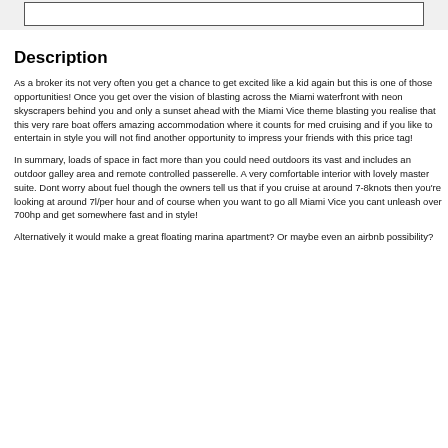Description
As a broker its not very often you get a chance to get excited like a kid again but this is one of those opportunities! Once you get over the vision of blasting across the Miami waterfront with neon skyscrapers behind you and only a sunset ahead with the Miami Vice theme blasting you realise that this very rare boat offers amazing accommodation where it counts for med cruising and if you like to entertain in style you will not find another opportunity to impress your friends with this price tag!
In summary, loads of space in fact more than you could need outdoors its vast and includes an outdoor galley area and remote controlled passerelle. A very comfortable interior with lovely master suite. Dont worry about fuel though the owners tell us that if you cruise at around 7-8knots then you're looking at around 7l/per hour and of course when you want to go all Miami Vice you cant unleash over 700hp and get somewhere fast and in style!
Alternatively it would make a great floating marina apartment? Or maybe even an airbnb possibility?